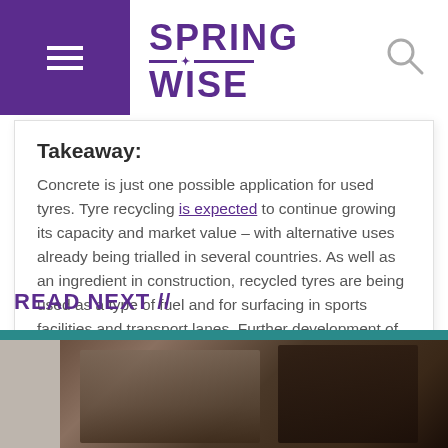SPRINGWISE
Takeaway:
Concrete is just one possible application for used tyres. Tyre recycling is expected to continue growing its capacity and market value – with alternative uses already being trialled in several countries. As well as an ingredient in construction, recycled tyres are being used as a type of fuel and for surfacing in sports facilities and transport lanes. Further development of recycling technologies is likely to explore how to make new tyres from used ones, particularly as knowledge of chemical recycling processes continues to grow.
READ NEXT //
[Figure (photo): Photo of people outdoors, partially visible at the bottom of the page]